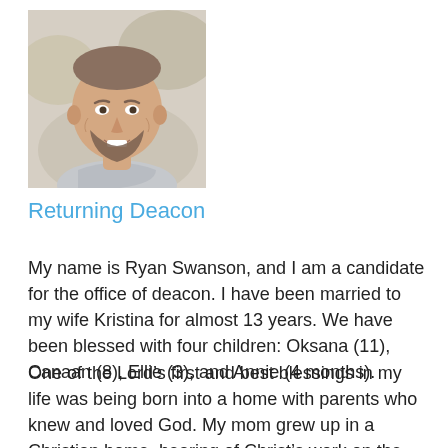[Figure (photo): Headshot photo of a smiling man with a beard, wearing a light-colored shirt, with a soft outdoor background.]
Returning Deacon
My name is Ryan Swanson, and I am a candidate for the office of deacon. I have been married to my wife Kristina for almost 13 years. We have been blessed with four children: Oksana (11), Canaan (8), Ellie (3), and Annie (4 months).
One of the Lord’s first and best blessings in my life was being born into a home with parents who knew and loved God. My mom grew up in a Christian home, hearing of Christ’s work on the cross from a